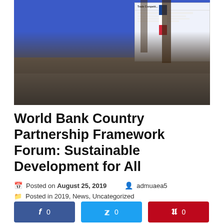[Figure (photo): Audience seated in a conference auditorium with blue walls, attending a World Bank forum. A presenter stands at a podium in front of a projection screen showing a presentation. A Philippine flag is visible near the screen.]
World Bank Country Partnership Framework Forum: Sustainable Development for All
Posted on August 25, 2019   admuaea5
Posted in 2019, News, Uncategorized